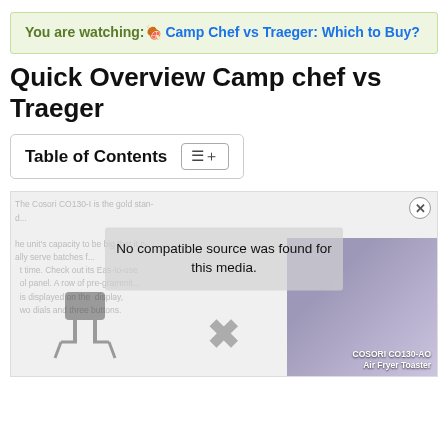You are watching:🍖 Camp Chef vs Traeger: Which to Buy?
Quick Overview Camp chef vs Traeger
Table of Contents
[Figure (screenshot): Video player showing 'No compatible source was found for this media.' overlay, with a grill product image in the background and COSORI CO130-AO Air Fryer Toaster text visible in the bottom right.]